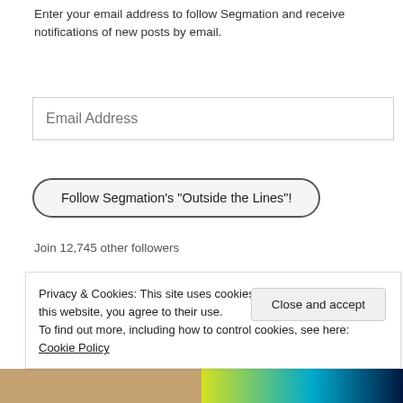Enter your email address to follow Segmation and receive notifications of new posts by email.
Email Address
Follow Segmation's "Outside the Lines"!
Join 12,745 other followers
Recently Posted!
Segmation Interviews Competitive Spirit : Karen Tashkovski Artist
www.segmation.com/blog
Privacy & Cookies: This site uses cookies. By continuing to use this website, you agree to their use.
To find out more, including how to control cookies, see here: Cookie Policy
Close and accept